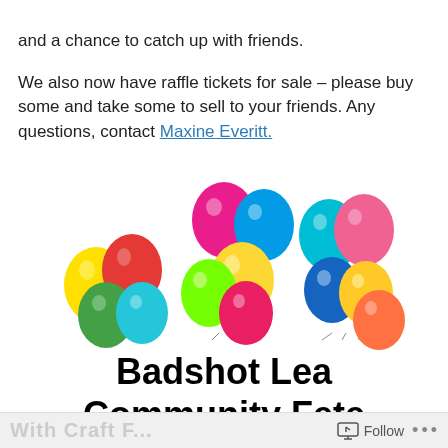and a chance to catch up with friends.

We also now have raffle tickets for sale – please buy some and take some to sell to your friends. Any questions, contact Maxine Everitt.
[Figure (illustration): Colorful bunch of balloons in red, orange, yellow, green, blue, pink, teal, and magenta colors, grouped in three bunches with strings hanging down.]
Badshot Lea Community Fete
With Craft F...   Follow   ...